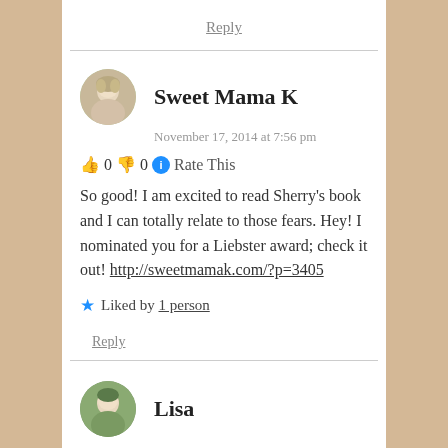Reply
Sweet Mama K
November 17, 2014 at 7:56 pm
👍 0 👎 0 ℹ Rate This
So good! I am excited to read Sherry's book and I can totally relate to those fears. Hey! I nominated you for a Liebster award; check it out! http://sweetmamak.com/?p=3405
★ Liked by 1 person
Reply
Lisa